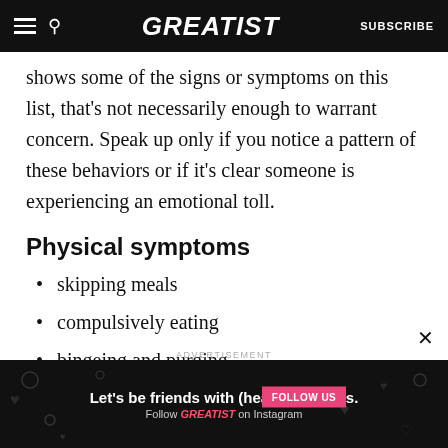GREATIST | SUBSCRIBE
shows some of the signs or symptoms on this list, that's not necessarily enough to warrant concern. Speak up only if you notice a pattern of these behaviors or if it's clear someone is experiencing an emotional toll.
Physical symptoms
skipping meals
compulsively eating
bingeing and purging
[Figure (screenshot): Advertisement banner: 'Let's be friends with (health) benefits. Follow GREATIST on Instagram' with a FOLLOW US button on black background with decorative heart/food doodles.]